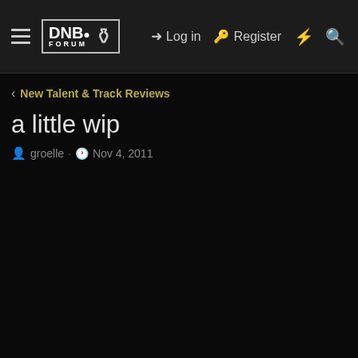DNB FORUM — Log in | Register
< New Talent & Track Reviews
a little wip
groelle · Nov 4, 2011